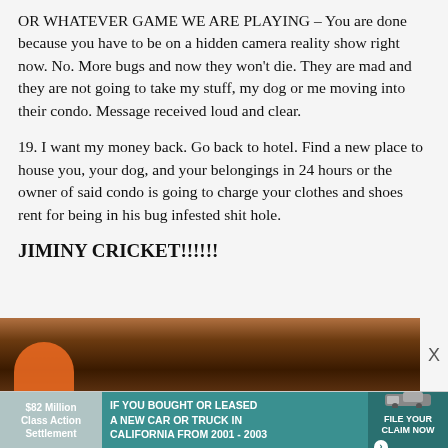OR WHATEVER GAME WE ARE PLAYING – You are done because you have to be on a hidden camera reality show right now. No. More bugs and now they won't die. They are mad and they are not going to take my stuff, my dog or me moving into their condo. Message received loud and clear.
19. I want my money back. Go back to hotel. Find a new place to house you, your dog, and your belongings in 24 hours or the owner of said condo is going to charge your clothes and shoes rent for being in his bug infested shit hole.
JIMINY CRICKET!!!!!!
[Figure (photo): Partial view of what appears to be a bug or insect on a wooden surface, with an orange element visible, shown as a cropped photo strip at the bottom of the content area.]
[Figure (infographic): Advertisement banner: '$82 Million Class Action Settlement — IF YOU BOUGHT OR LEASED A NEW CAR OR TRUCK IN CALIFORNIA FROM 2001 - 2003 — FILE YOUR CLAIM NOW']